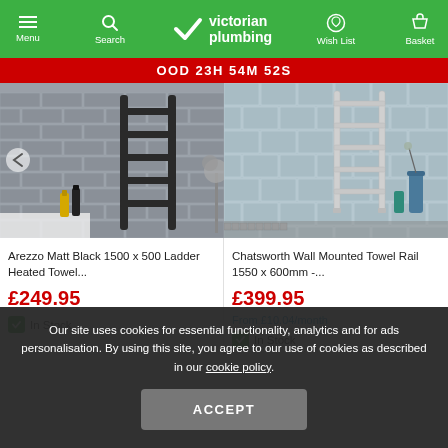Victorian Plumbing — Menu | Search | Wish List | Basket
OOD 23H 54M 52S
[Figure (photo): Arezzo Matt Black 1500 x 500 Ladder Heated Towel Rail mounted on grey brick wall]
[Figure (photo): Chatsworth Wall Mounted Towel Rail 1550 x 600mm mounted on light blue tile wall]
Arezzo Matt Black 1500 x 500 Ladder Heated Towel...
£249.95
In Stock
Chatsworth Wall Mounted Towel Rail 1550 x 600mm -...
£399.95
From £10.04/month
In Stock
Our site uses cookies for essential functionality, analytics and for ads personalisation. By using this site, you agree to our use of cookies as described in our cookie policy.
ACCEPT